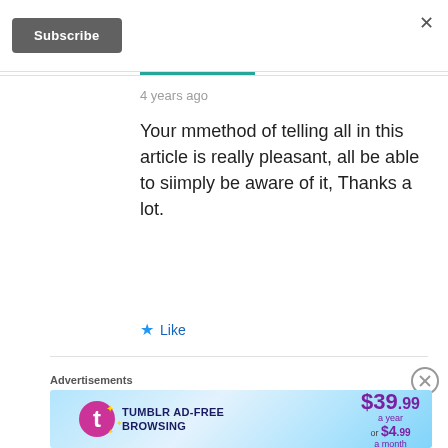[Figure (screenshot): Subscribe button with dark gray background and white text]
4 years ago
Your mmethod of telling all in this article is really pleasant, all be able to siimply be aware of it, Thanks a lot.
★ Like
Advertisements
[Figure (infographic): Tumblr Ad-Free Browsing advertisement banner showing $39.99 a year or $4.99 a month with Tumblr logo]